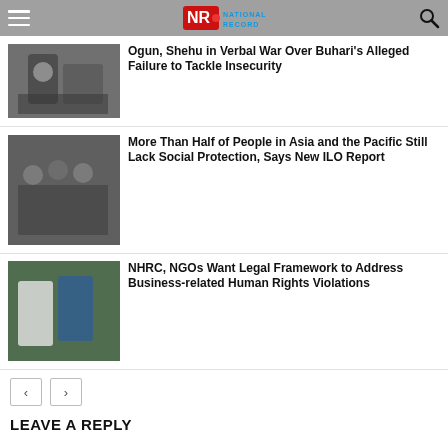National Record
[Figure (photo): Person at podium, news article thumbnail]
Ogun, Shehu in Verbal War Over Buhari's Alleged Failure to Tackle Insecurity
[Figure (photo): Group of people in crowd, UN peacekeepers]
More Than Half of People in Asia and the Pacific Still Lack Social Protection, Says New ILO Report
[Figure (photo): Men in traditional Nigerian attire]
NHRC, NGOs Want Legal Framework to Address Business-related Human Rights Violations
< >
LEAVE A REPLY